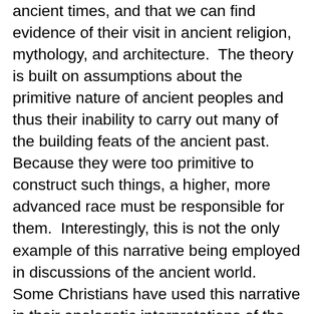ancient times, and that we can find evidence of their visit in ancient religion, mythology, and architecture.  The theory is built on assumptions about the primitive nature of ancient peoples and thus their inability to carry out many of the building feats of the ancient past.  Because they were too primitive to construct such things, a higher, more advanced race must be responsible for them.  Interestingly, this is not the only example of this narrative being employed in discussions of the ancient world.  Some Christians have used this narrative in their apologetic interpretations of the Bible.  They assume not only the technological and scientific inferiority of ancient peoples, but their moral inferiority as well.  They then attempt to identify examples of comparatively more scientifically and morally advanced concepts in the Bible.  While proponents of the ancient astronaut theory explain the supposed architectural anachronisms they identify with recourse to extra-terrestrials, Christian apologists see the scientific and moral